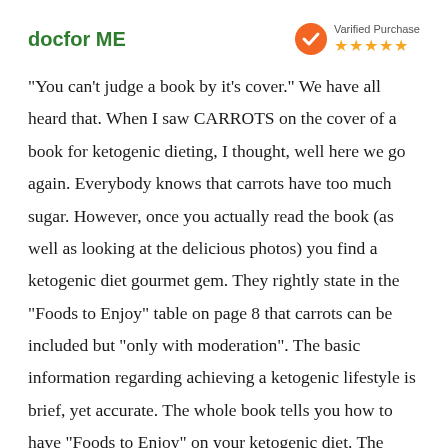docfor ME
[Figure (other): Verified Purchase badge with orange check icon and 5 gold stars]
"You can't judge a book by it's cover." We have all heard that. When I saw CARROTS on the cover of a book for ketogenic dieting, I thought, well here we go again. Everybody knows that carrots have too much sugar. However, once you actually read the book (as well as looking at the delicious photos) you find a ketogenic diet gourmet gem. They rightly state in the "Foods to Enjoy" table on page 8 that carrots can be included but "only with moderation". The basic information regarding achieving a ketogenic lifestyle is brief, yet accurate. The whole book tells you how to have "Foods to Enjoy" on your ketogenic diet. The recipes chosen are diverse and simplified for our